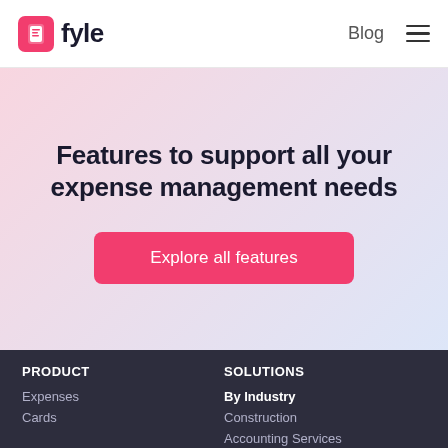[Figure (logo): Fyle logo — pink square icon with a white receipt/file symbol, followed by bold text 'fyle']
Blog
Features to support all your expense management needs
Explore all features
PRODUCT
Expenses
Cards
SOLUTIONS
By Industry
Construction
Accounting Services